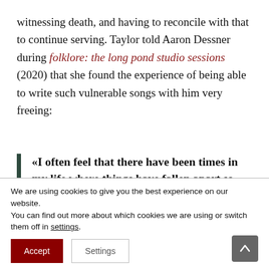witnessing death, and having to reconcile with that to continue serving. Taylor told Aaron Dessner during folklore: the long pond studio sessions (2020) that she found the experience of being able to write such vulnerable songs with him very freeing:
«I often feel that there have been times in my life where things have fallen apart so methodically, and I couldn't control how things were going wrong, and nothing I did stopped it. I just felt like I'd been pushed out a
We are using cookies to give you the best experience on our website.
You can find out more about which cookies we are using or switch them off in settings.